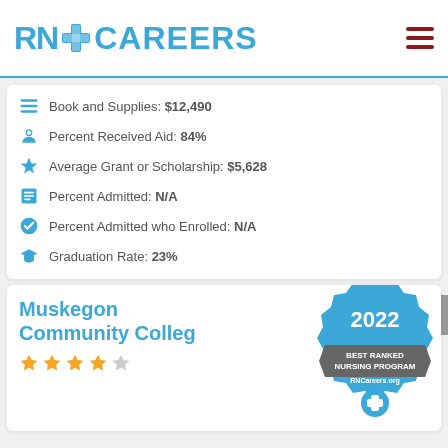[Figure (logo): RN Careers logo with blue cross icon and blue text, hamburger menu icon in dark red on right]
Book and Supplies: $12,490
Percent Received Aid: 84%
Average Grant or Scholarship: $5,628
Percent Admitted: N/A
Percent Admitted who Enrolled: N/A
Graduation Rate: 23%
Muskegon Community College
[Figure (illustration): 2022 Best Ranked Nursing Program badge from RNCareers.org]